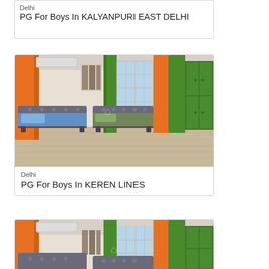[Figure (photo): Bedroom with blue-sheeted bed, orange and green curtains - partially visible at top]
Delhi
PG For Boys In KALYANPURI EAST DELHI
[Figure (photo): Bedroom with two beds (blue and green sheets), orange and green curtains, green wardrobe, wooden floor]
Delhi
PG For Boys In KEREN LINES
[Figure (photo): Same bedroom style - partially visible at bottom of page]